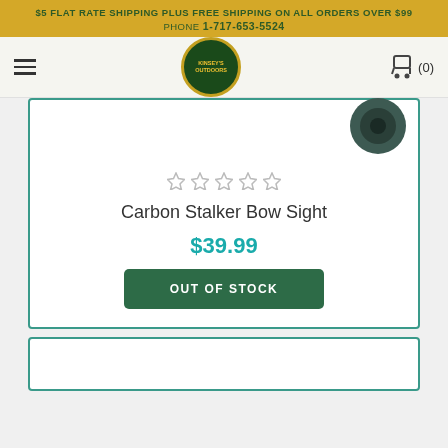$5 FLAT RATE SHIPPING PLUS FREE SHIPPING ON ALL ORDERS OVER $99
PHONE 1-717-653-5524
[Figure (logo): Kinsey's Outdoors logo — circular dark green badge with gold border and text]
[Figure (illustration): Shopping cart icon with (0) item count]
[Figure (photo): Carbon Stalker Bow Sight product image, partially visible at top right of card]
[Figure (infographic): Five empty star ratings]
Carbon Stalker Bow Sight
$39.99
OUT OF STOCK